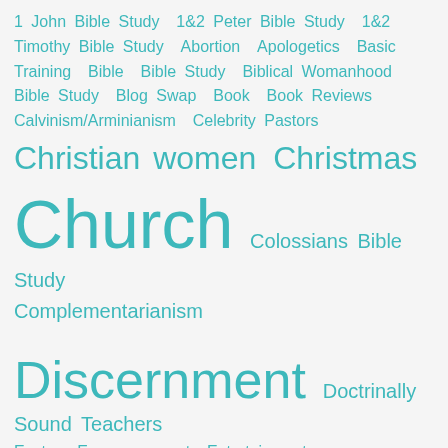[Figure (infographic): Tag cloud with Christian/religious topics in teal color at varying font sizes indicating frequency/relevance. Topics include: 1 John Bible Study, 1&2 Peter Bible Study, 1&2 Timothy Bible Study, Abortion, Apologetics, Basic Training, Bible, Bible Study, Biblical Womanhood Bible Study, Blog Swap, Book, Book Reviews, Calvinism/Arminianism, Celebrity Pastors, Christian women, Christmas, Church, Colossians Bible Study, Complementarianism, Discernment, Doctrinally Sound Teachers, Easter, Encouragement, Entertainment, Evangelism, Ezekiel Bible Study, Ezra Bible Study, Faith, False Doctrine, False Teachers, Favorite Finds, Forgiveness]